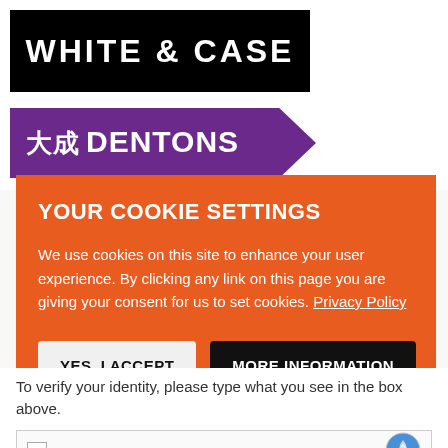[Figure (logo): White & Case law firm logo — white text on black background]
[Figure (logo): Dentons law firm logo — white text with Chinese characters on purple background with right-pointing arrow shape]
YOUR COOKIE SETTINGS
We use cookies on this site to enhance your user experience. By clicking any link on this page you are giving your consent for us to set cookies. Privacy Policy
YES, I ACCEPT
MORE INFORMATION
To verify your identity, please type what you see in the box above.
[Figure (screenshot): reCAPTCHA widget with checkbox and logo]